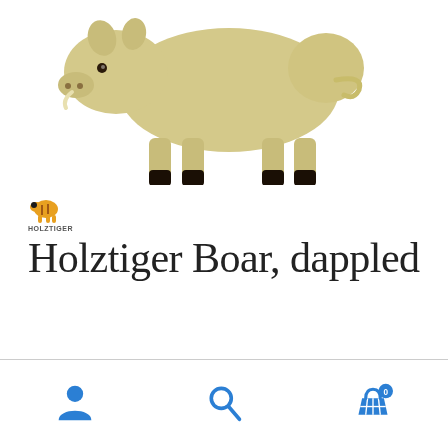[Figure (photo): Wooden toy boar figurine in cream/beige color with dark hooves, photographed on white background. The Holztiger brand wooden animal toy.]
[Figure (logo): Holztiger brand logo — small orange/gold tiger figure above the text HOLZTIGER]
Holztiger Boar, dappled
£9.99
[Figure (infographic): Bottom navigation bar with three icons: user/account icon, search magnifying glass icon, and shopping basket icon with a blue badge showing the number 0]